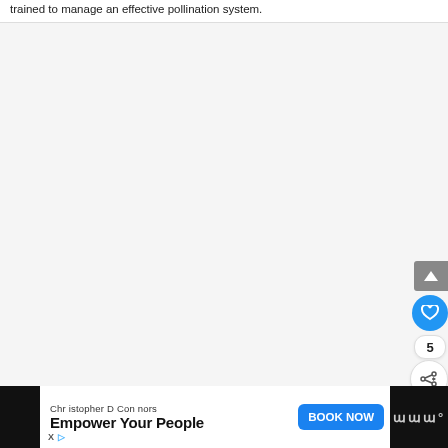trained to manage an effective pollination system.
[Figure (other): Large blank/light gray content area representing a webpage article body, with UI elements: a scroll-to-top arrow button (gray), a heart/like button (blue circle), a count of 5, a share button (white circle), and a 'What's Next' card showing 'The Best Greenhouse...']
[Figure (other): Advertisement bar at bottom: white section with 'Christopher D Connors', 'Empower Your People', 'BOOK NOW' button, ad icons (X and arrow), and a dark section with 'W°' logo.]